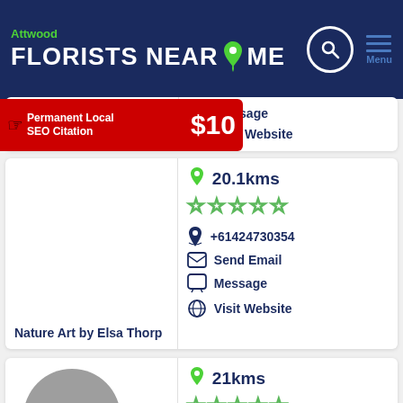Attwood FLORISTS NEAR ME
[Figure (screenshot): Ad banner: Permanent Local SEO Citation $10]
Message
Visit Website
20.1kms
+61424730354
Send Email
Message
Visit Website
Nature Art by Elsa Thorp
21kms
0431640404
Send Email
Message
Chromata Florals